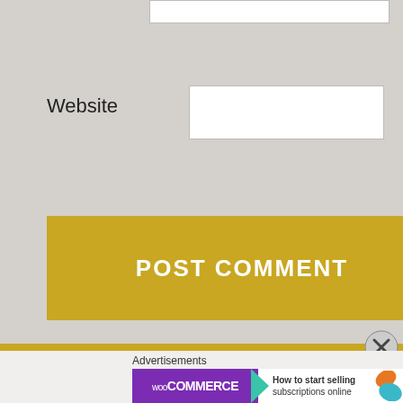Website
POST COMMENT
Notify me of new comments via email.
Notify me of new posts via email.
Advertisements
[Figure (screenshot): WooCommerce advertisement banner: 'How to start selling subscriptions online']